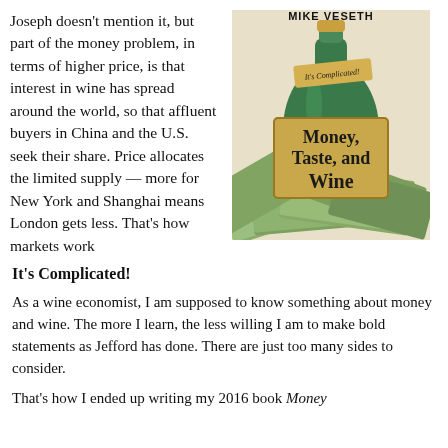Joseph doesn't mention it, but part of the money problem, in terms of higher price, is that interest in wine has spread around the world, so that affluent buyers in China and the U.S. seek their share. Price allocates the limited supply — more for New York and Shanghai means London gets less. That's how markets work
[Figure (photo): Book cover of 'Money, Taste, and Wine' by Mike Veseth, showing a green wine bottle surrounded by dollar bills with the subtitle 'It's Complicated!']
It's Complicated!
As a wine economist, I am supposed to know something about money and wine. The more I learn, the less willing I am to make bold statements as Jefford has done. There are just too many sides to consider.
That's how I ended up writing my 2016 book Money...